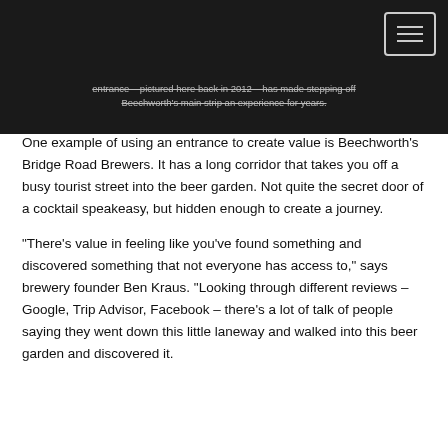entrance – pictured here back in 2012 – has made stepping off Beechworth's main strip an experience for years.
One example of using an entrance to create value is Beechworth's Bridge Road Brewers. It has a long corridor that takes you off a busy tourist street into the beer garden. Not quite the secret door of a cocktail speakeasy, but hidden enough to create a journey.
“There’s value in feeling like you've found something and discovered something that not everyone has access to,” says brewery founder Ben Kraus. “Looking through different reviews – Google, Trip Advisor, Facebook – there’s a lot of talk of people saying they went down this little laneway and walked into this beer garden and discovered it.